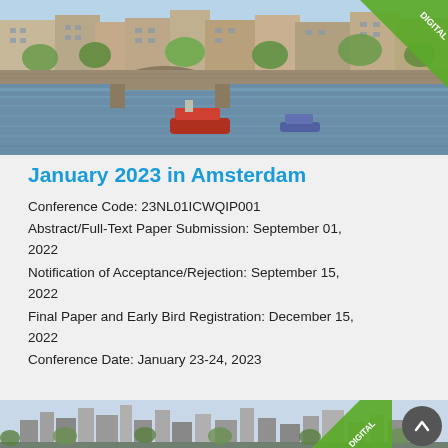[Figure (photo): Aerial photo of Amsterdam canal with stone bridge, boats, and trees lining the waterway. A green 'DIGITAL' badge in the top-right corner.]
January 2023 in Amsterdam
Conference Code: 23NL01ICWQIP001
Abstract/Full-Text Paper Submission: September 01, 2022
Notification of Acceptance/Rejection: September 15, 2022
Final Paper and Early Bird Registration: December 15, 2022
Conference Date: January 23-24, 2023
[Figure (photo): City skyline photo with skyscrapers. A green 'DIGITAL' badge in the bottom-right corner and a scroll-up button.]